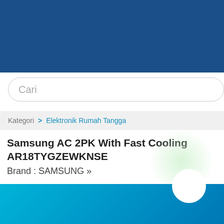[Figure (screenshot): Dark blue header bar at the top of a mobile e-commerce page]
Cari
Kategori > Elektronik Rumah Tangga
Samsung AC 2PK With Fast Cooling AR18TYGZEWKNSE
Brand : SAMSUNG »